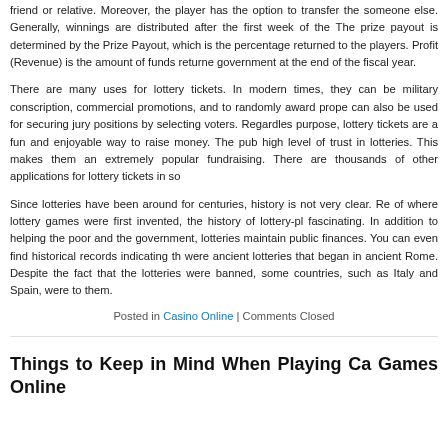friend or relative. Moreover, the player has the option to transfer the someone else. Generally, winnings are distributed after the first week of the The prize payout is determined by the Prize Payout, which is the percentage returned to the players. Profit (Revenue) is the amount of funds returne government at the end of the fiscal year.
There are many uses for lottery tickets. In modern times, they can be military conscription, commercial promotions, and to randomly award prope can also be used for securing jury positions by selecting voters. Regardles purpose, lottery tickets are a fun and enjoyable way to raise money. The pub high level of trust in lotteries. This makes them an extremely popular fundraising. There are thousands of other applications for lottery tickets in so
Since lotteries have been around for centuries, history is not very clear. Re of where lottery games were first invented, the history of lottery-pl fascinating. In addition to helping the poor and the government, lotteries maintain public finances. You can even find historical records indicating th were ancient lotteries that began in ancient Rome. Despite the fact that the lotteries were banned, some countries, such as Italy and Spain, were to them.
Posted in Casino Online | Comments Closed
Things to Keep in Mind When Playing Ca Games Online